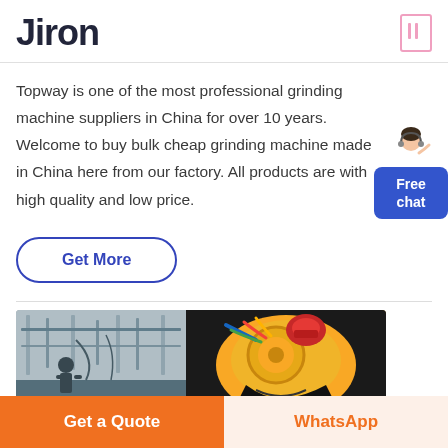Jiron
Topway is one of the most professional grinding machine suppliers in China for over 10 years. Welcome to buy bulk cheap grinding machine made in China here from our factory. All products are with high quality and low price.
Get More
[Figure (photo): Industrial factory and yellow grinding machine with red component]
Get a Quote
WhatsApp